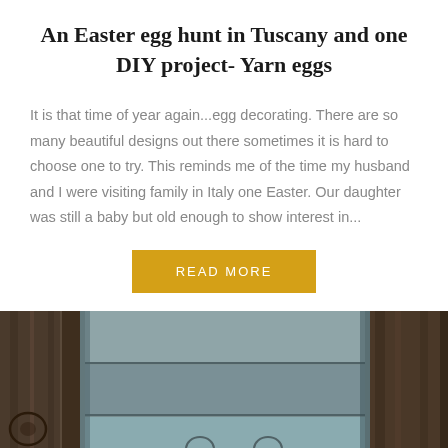An Easter egg hunt in Tuscany and one DIY project- Yarn eggs
It is that time of year again...egg decorating. There are so many beautiful designs out there sometimes it is hard to choose one to try. This reminds me of the time my husband and I were visiting family in Italy one Easter. Our daughter was still a baby but old enough to show interest in...
READ MORE
[Figure (photo): Rustic weathered wood background with a light blue/grey painted wooden panel or door visible in the center]